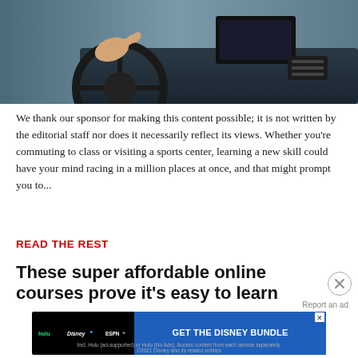[Figure (photo): Person's hand on a car steering wheel, car interior dashboard visible in background]
We thank our sponsor for making this content possible; it is not written by the editorial staff nor does it necessarily reflect its views. Whether you're commuting to class or visiting a sports center, learning a new skill could have your mind racing in a million places at once, and that might prompt you to...
READ THE REST
These super affordable online courses prove it's easy to learn
[Figure (screenshot): Disney Bundle advertisement banner: hulu, Disney+, ESPN+ logos with 'GET THE DISNEY BUNDLE' call to action button. Footer text: Incl. Hulu (ad-supported) or Hulu (No Ads). Access content from each service separately. ©2021 Disney and its related entities]